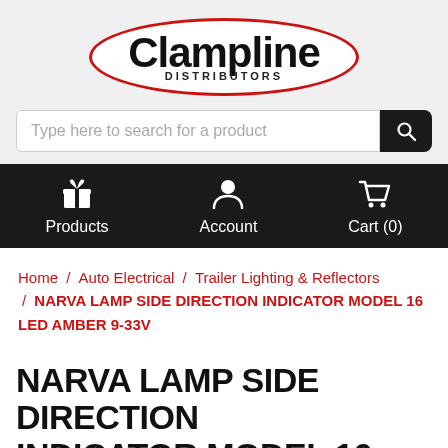[Figure (logo): Clampline Distributors logo: oval red border with Clampline in large bold black text and DISTRIBUTORS in small caps below]
Type here to search for a product
[Figure (infographic): Navigation bar with three icons: gift box icon labeled Products, person/account icon labeled Account, shopping cart icon labeled Cart (0)]
Home / Auto Electrical / Trailer Lighting & Reflectors / NARVA LAMP SIDE DIRECTION INDICATOR MODEL 16 LED AMBER 9-33V
NARVA LAMP SIDE DIRECTION INDICATOR MODEL 16 LED